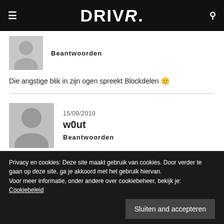DRIVR.
Beantwoorden
Die angstige blik in zijn ogen spreekt Blockdelen 🙂
15/09/2010
w0ut
Beantwoorden
Privacy en cookies: Deze site maakt gebruik van cookies. Door verder te gaan op deze site, ga je akkoord met het gebruik hiervan.
Voor meer informatie, onder andere over cookiebeheer, bekijk je:
Cookiebeleid
Sluiten and accepteren